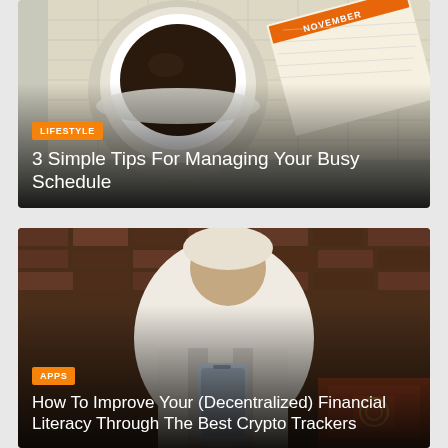[Figure (photo): Top-down view of a coffee cup on a white saucer placed on a November calendar planner, with pen visible. Dark gradient overlay at bottom. Orange 'LIFESTYLE' badge and white title text overlaid.]
3 Simple Tips For Managing Your Busy Schedule
[Figure (photo): Person wearing white robe and white hat, looking down at a smartphone, seated against a dark brick wall with a patterned rug. Dark gradient overlay at bottom. Orange 'APPS' badge and white title text overlaid.]
How To Improve Your (Decentralized) Financial Literacy Through The Best Crypto Trackers